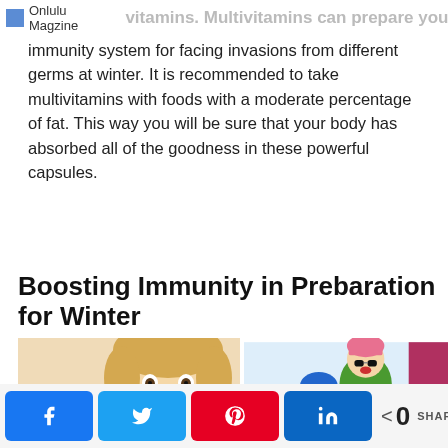Onlulu Magzine
vitamins. Multivitamins can prepare your immunity system for facing invasions from different germs at winter. It is recommended to take multivitamins with foods with a moderate percentage of fat. This way you will be sure that your body has absorbed all of the goodness in these powerful capsules.
Boosting Immunity in Prebaration for Winter
[Figure (photo): Left: young child blowing nose with tissue, honey pot and mug in background. Right: woman and child in colorful winter clothes sliding in snow.]
Share buttons: Facebook, Twitter, Pinterest, LinkedIn. 0 SHARES